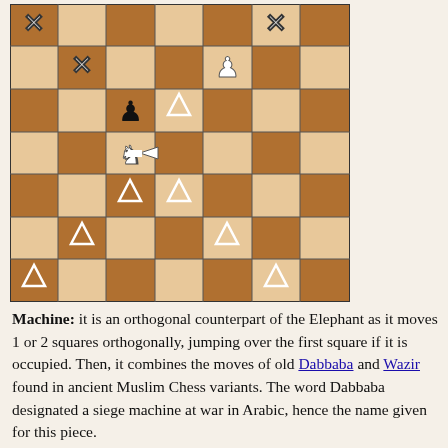[Figure (other): Chess board (7x7) showing the movement pattern of the Machine piece. The Machine piece (white knight-like piece pointing right) is in the center. X marks show squares where the piece cannot move. Triangles show valid move destinations. A white pawn and black pawn are also shown.]
Machine: it is an orthogonal counterpart of the Elephant as it moves 1 or 2 squares orthogonally, jumping over the first square if it is occupied. Then, it combines the moves of old Dabbaba and Wazir found in ancient Muslim Chess variants. The word Dabbaba designated a siege machine at war in Arabic, hence the name given for this piece.